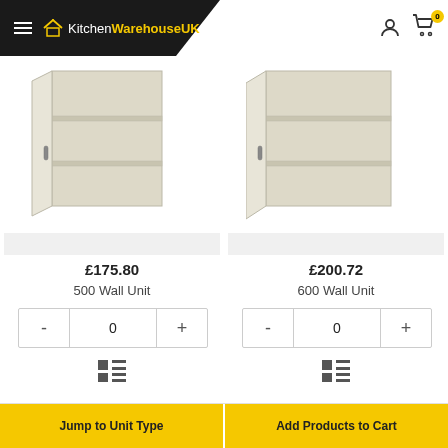KitchenWarehouseUK — hamburger menu, user icon, cart (0)
[Figure (photo): 500 Wall Unit kitchen cabinet with open door showing shelves, cream/beige color]
[Figure (photo): 600 Wall Unit kitchen cabinet with open door showing shelves, cream/beige color]
£175.80
500 Wall Unit
£200.72
600 Wall Unit
- 0 +
- 0 +
Jump to Unit Type | Add Products to Cart